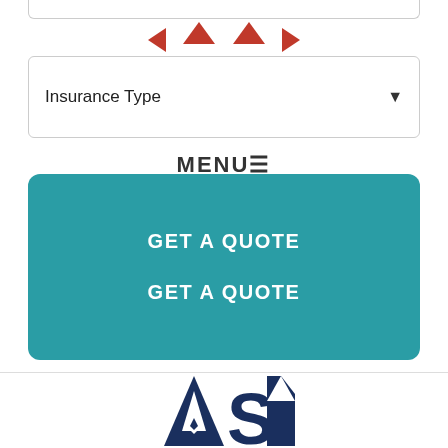[Figure (screenshot): Partial top border of a form box, partially visible at top of page]
[Figure (illustration): Red arrow icons: two upward-pointing arrows in center, one left-pointing and one right-pointing arrow on sides]
Insurance Type
MENU
GET A QUOTE
GET A QUOTE
[Figure (logo): ASI logo — dark navy blue letters A, S, I with a diamond/triangle graphic element]